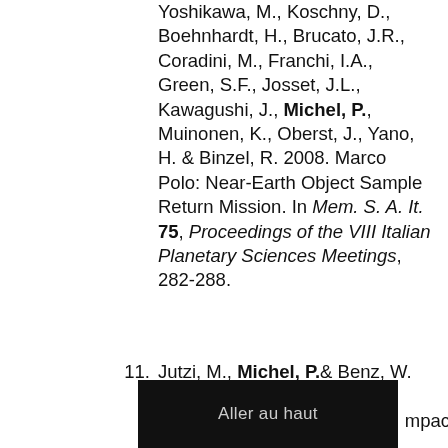Yoshikawa, M., Koschny, D., Boehnhardt, H., Brucato, J.R., Coradini, M., Franchi, I.A., Green, S.F., Josset, J.L., Kawagushi, J., Michel, P., Muinonen, K., Oberst, J., Yano, H. & Binzel, R. 2008. Marco Polo: Near-Earth Object Sample Return Mission. In Mem. S. A. It. 75, Proceedings of the VIII Italian Planetary Sciences Meetings, 282-288.
Jutzi, M., Michel, P.& Benz, W. 2009. Numerical ... impact